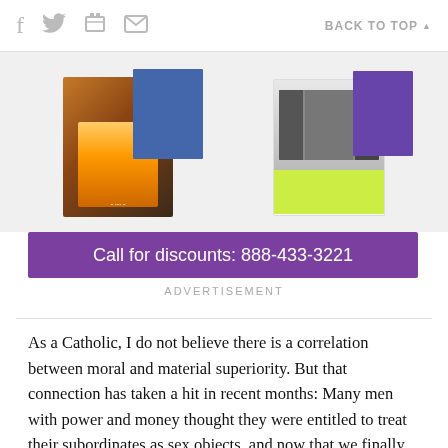f  [twitter]  [print]  [mail]  BACK TO TOP ▲
[Figure (other): Two book cover images shown partially, with purple/blue design elements]
[Figure (other): Purple advertisement banner: Call for discounts: 888-433-3221]
ADVERTISEMENT
As a Catholic, I do not believe there is a correlation between moral and material superiority. But that connection has taken a hit in recent months: Many men with power and money thought they were entitled to treat their subordinates as sex objects, and now that we finally see justice being done, I think the connection, so deep in American culture, is being questioned at one level.
Let that questioning spread. Let it roll on like the mighty Mississippi — broad and inexorable — until